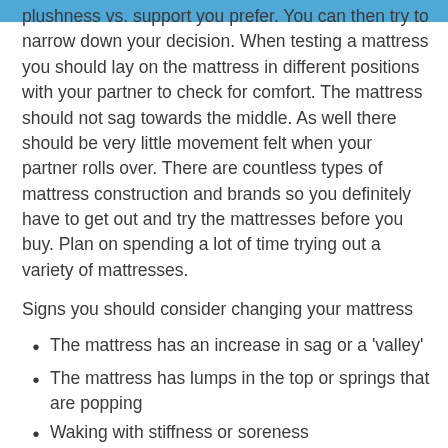plushness vs. support you prefer. You can then try to narrow down your decision. When testing a mattress you should lay on the mattress in different positions with your partner to check for comfort. The mattress should not sag towards the middle. As well there should be very little movement felt when your partner rolls over. There are countless types of mattress construction and brands so you definitely have to get out and try the mattresses before you buy. Plan on spending a lot of time trying out a variety of mattresses.
Signs you should consider changing your mattress
The mattress has an increase in sag or a ‘valley’
The mattress has lumps in the top or springs that are popping
Waking with stiffness or soreness
Waking when your partner rolls over or get out of bed
Having to frequently change positions